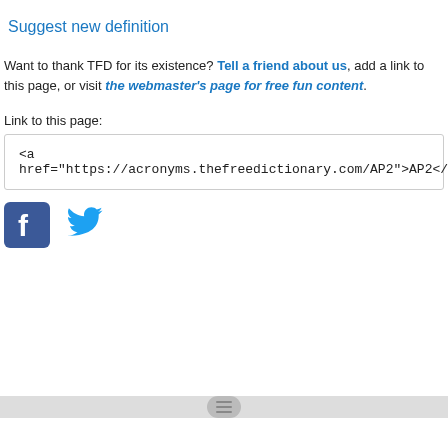Suggest new definition
Want to thank TFD for its existence? Tell a friend about us, add a link to this page, or visit the webmaster's page for free fun content.
Link to this page:
<a href="https://acronyms.thefreedictionary.com/AP2">AP2</a>
[Figure (logo): Facebook logo icon (blue square with white F) and Twitter logo icon (blue bird)]